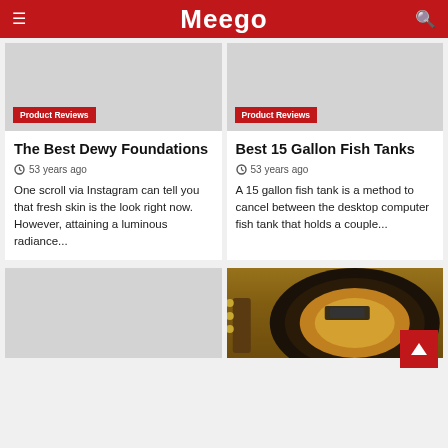Meego
[Figure (screenshot): Gray placeholder image for The Best Dewy Foundations article with red Product Reviews badge]
Product Reviews
The Best Dewy Foundations
53 years ago
One scroll via Instagram can tell you that fresh skin is the look right now. However, attaining a luminous radiance...
[Figure (screenshot): Gray placeholder image for Best 15 Gallon Fish Tanks article with red Product Reviews badge]
Product Reviews
Best 15 Gallon Fish Tanks
53 years ago
A 15 gallon fish tank is a method to cancel between the desktop computer fish tank that holds a couple...
[Figure (photo): Gray placeholder image for third article card (bottom left)]
[Figure (photo): Photo of an electric guitar (sunburst Les Paul style) on a wooden surface, bottom right card]